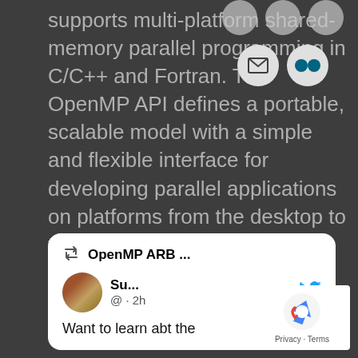supports multi-platform shared-memory parallel programming in C/C++ and Fortran. The OpenMP API defines a portable, scalable model with a simple and flexible interface for developing parallel applications on platforms from the desktop to the supercomputer.
[Figure (screenshot): Tweet card showing OpenMP ARB retweet with user 'Su...' (@·2h) with Twitter bird icon and text 'Want to learn abt the']
[Figure (other): reCAPTCHA badge with Privacy - Terms text]